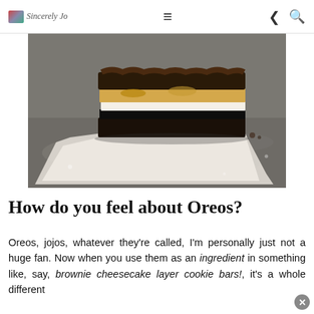Sincerely [logo] | hamburger menu | share icon | search icon
[Figure (photo): Close-up photo of stacked brownie cheesecake layer cookie bars on white parchment paper against a dark stone surface. The bars show distinct layers: dark chocolate brownie, Oreo cookie, white cheesecake filling, and crumbly topping.]
How do you feel about Oreos?
Oreos, jojos, whatever they're called, I'm personally just not a huge fan. Now when you use them as an ingredient in something like, say, brownie cheesecake layer cookie bars!, it's a whole different